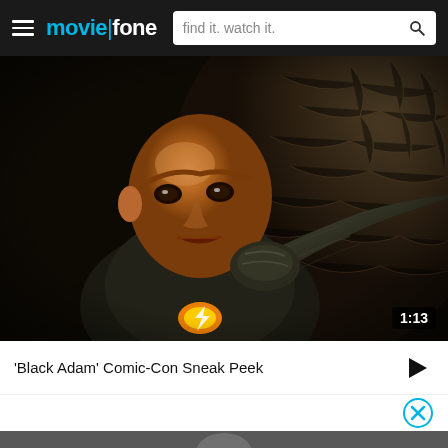moviefone — find it. watch it.
[Figure (screenshot): Video thumbnail showing Dwayne Johnson as Black Adam in costume reaching forward, with a '1:13' timer badge in the lower right corner]
'Black Adam' Comic-Con Sneak Peek
[Figure (photo): Partial bottom thumbnail of a second video, showing a dark gray background with a partial silhouette figure]